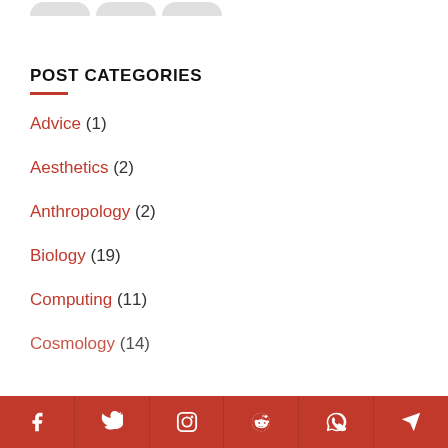POST CATEGORIES
Advice (1)
Aesthetics (2)
Anthropology (2)
Biology (19)
Computing (11)
Cosmology (14)